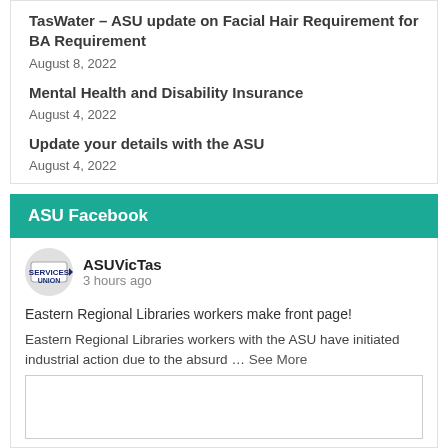TasWater – ASU update on Facial Hair Requirement for BA Requirement
August 8, 2022
Mental Health and Disability Insurance
August 4, 2022
Update your details with the ASU
August 4, 2022
ASU Facebook
ASUVicTas
3 hours ago
Eastern Regional Libraries workers make front page!
Eastern Regional Libraries workers with the ASU have initiated industrial action due to the absurd … See More
[Figure (other): Image placeholder area at the bottom of the Facebook post]